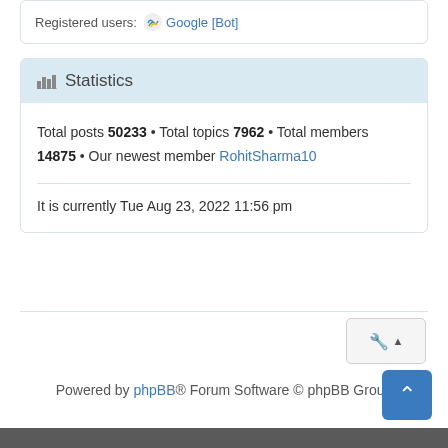Registered users: Google [Bot]
Statistics
Total posts 50233 • Total topics 7962 • Total members 14875 • Our newest member RohitSharma10
It is currently Tue Aug 23, 2022 11:56 pm
Powered by phpBB® Forum Software © phpBB Group